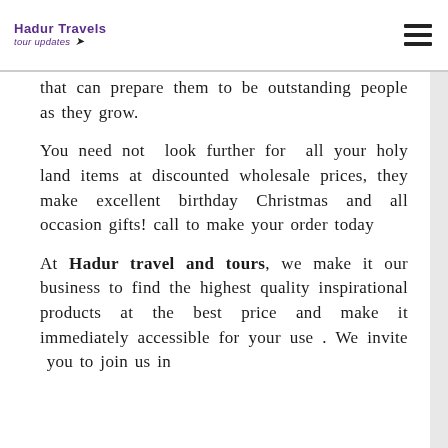Hadur Travels tour updates
that can prepare them to be outstanding people as they grow.
You need not look further for all your holy land items at discounted wholesale prices, they make excellent birthday Christmas and all occasion gifts! call to make your order today
At Hadur travel and tours, we make it our business to find the highest quality inspirational products at the best price and make it immediately accessible for your use . We invite you to join us in